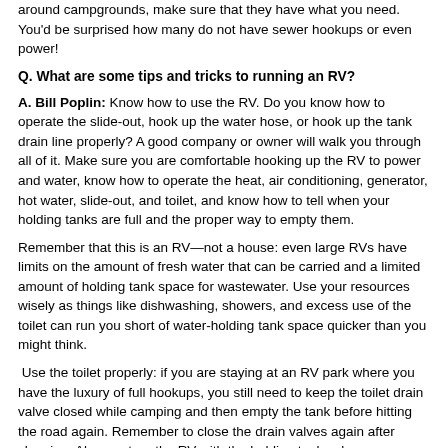around campgrounds, make sure that they have what you need. You'd be surprised how many do not have sewer hookups or even power!
Q. What are some tips and tricks to running an RV?
A. Bill Poplin: Know how to use the RV. Do you know how to operate the slide-out, hook up the water hose, or hook up the tank drain line properly? A good company or owner will walk you through all of it. Make sure you are comfortable hooking up the RV to power and water, know how to operate the heat, air conditioning, generator, hot water, slide-out, and toilet, and know how to tell when your holding tanks are full and the proper way to empty them.
Remember that this is an RV—not a house: even large RVs have limits on the amount of fresh water that can be carried and a limited amount of holding tank space for wastewater. Use your resources wisely as things like dishwashing, showers, and excess use of the toilet can run you short of water-holding tank space quicker than you might think.
Use the toilet properly: if you are staying at an RV park where you have the luxury of full hookups, you still need to keep the toilet drain valve closed while camping and then empty the tank before hitting the road again. Remember to close the drain valves again after cleaning. Always store the RV with the holding tank valves...